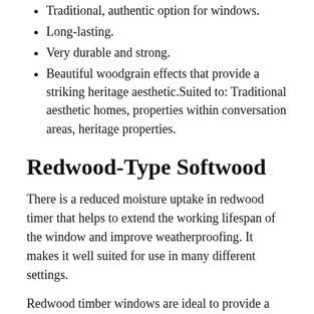Traditional, authentic option for windows.
Long-lasting.
Very durable and strong.
Beautiful woodgrain effects that provide a striking heritage aesthetic.Suited to: Traditional aesthetic homes, properties within conversation areas, heritage properties.
Redwood-Type Softwood
There is a reduced moisture uptake in redwood timer that helps to extend the working lifespan of the window and improve weatherproofing. It makes it well suited for use in many different settings.
Redwood timber windows are ideal to provide a